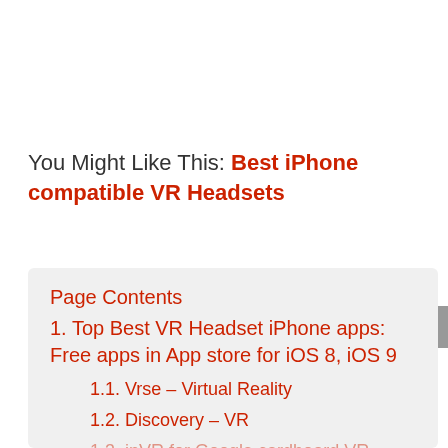You Might Like This: Best iPhone compatible VR Headsets
Page Contents
1. Top Best VR Headset iPhone apps: Free apps in App store for iOS 8, iOS 9
1.1. Vrse – Virtual Reality
1.2. Discovery – VR
1.3. inVR for Google cardboard VR
1.4. Jurassic Virtual Reality